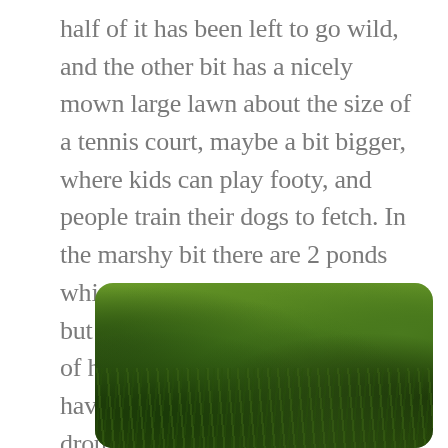half of it has been left to go wild, and the other bit has a nicely mown large lawn about the size of a tennis court, maybe a bit bigger, where kids can play footy, and people train their dogs to fetch. In the marshy bit there are 2 ponds which serve the wildlife and birds, but even though we've had 2 days of heavy rain last week, the ponds have gone down the road of drought.
[Figure (photo): A photograph of a marshy, wild area with dense green and golden grasses, shrubs, and vegetation. The scene shows an overgrown natural landscape with various shades of green, yellow-green, and dark foliage.]